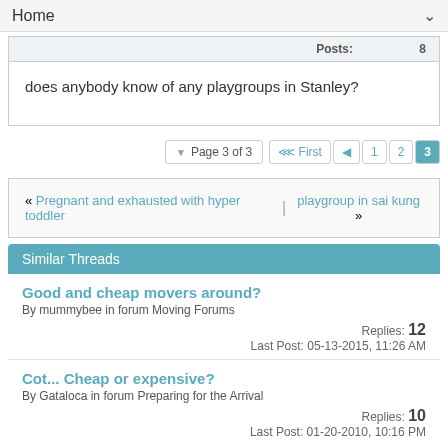Home
| Posts: | 8 |
| --- | --- |
does anybody know of any playgroups in Stanley?
Page 3 of 3  First  1  2  3
« Pregnant and exhausted with hyper toddler | playgroup in sai kung »
Similar Threads
Good and cheap movers around?
By mummybee in forum Moving Forums
Replies: 12
Last Post: 05-13-2015, 11:26 AM
Cot... Cheap or expensive?
By Gataloca in forum Preparing for the Arrival
Replies: 10
Last Post: 01-20-2010, 10:16 PM